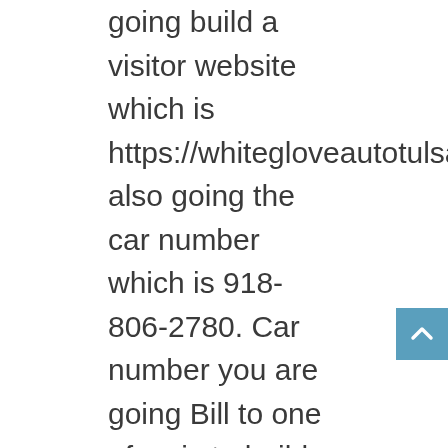going build a visitor website which is https://whitegloveautotulsa.com/# also going the car number which is 918-806-2780. Car number you are going Bill to one of us is to build to learn more about everything that we are going Bill to provide for you here. We want to be able to help you.
Do You Need Help Finding Our Best Tulsa Auto Wraps?
Best Tulsa Auto Wraps going to you for. When initially you're going Bill to have an amazing experience with us are not going to be unhappy with any of the results of are going Bill to bring you here. When a mission you're going Bill to have an amazing experience is not going to be forgettable is